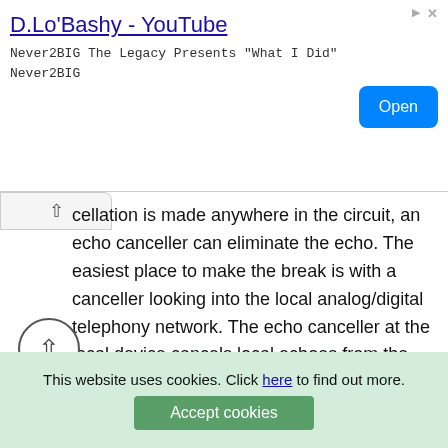[Figure (screenshot): Advertisement banner for D.Lo'Bashy YouTube channel with Open button]
cellation is made anywhere in the circuit, an echo canceller can eliminate the echo. The easiest place to make the break is with a canceller looking into the local analog/digital telephony network. The echo canceller at the local device cancels local echoes from the hybrid reflection, the echo canceller at the other end of the call eliminates the echoes you hear, and vice versa.
The last part of digital voice technologies is noise generation. As it turns out, silence is not always golden. When speech stops, we generate comfort noise to help assure people that the "circuit" is still live, that the call hasn't dropped. The simple techniques involve playing wh
This website uses cookies. Click here to find out more.
Accept cookies